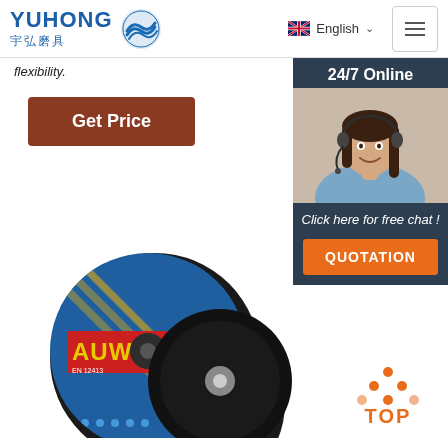YUHONG 宇弘磨具 | English | Navigation menu
flexibility.
Get Price
[Figure (photo): Customer service representative with headset, 24/7 Online banner, with 'Click here for free chat!' and QUOTATION button]
[Figure (photo): Multiple AUWELD brand abrasive grinding/cutting discs displayed overlapping each other]
[Figure (logo): TOP icon with orange triangle dots and orange text]